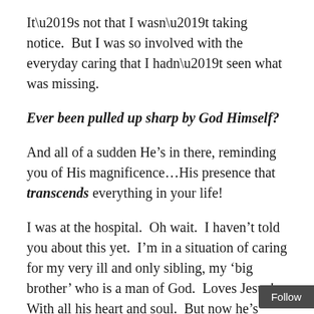It’s not that I wasn’t taking notice.  But I was so involved with the everyday caring that I hadn’t seen what was missing.
Ever been pulled up sharp by God Himself?
And all of a sudden He’s in there, reminding you of His magnificence…His presence that transcends everything in your life!
I was at the hospital.  Oh wait.  I haven’t told you about this yet.  I’m in a situation of caring for my very ill and only sibling, my ‘big brother’ who is a man of God.  Loves Jesus!  With all his heart and soul.  But now he’s